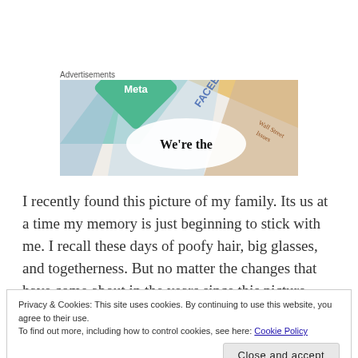Advertisements
[Figure (photo): Advertisement banner showing overlapping cards/tiles with Meta, Facebook logos and text 'We're the' on a white ellipse]
I recently found this picture of my family. Its us at a time my memory is just beginning to stick with me. I recall these days of poofy hair, big glasses, and togetherness. But no matter the changes that have come about in the years since this picture (children,
Privacy & Cookies: This site uses cookies. By continuing to use this website, you agree to their use.
To find out more, including how to control cookies, see here: Cookie Policy
Close and accept
Countless books and movies have been written and